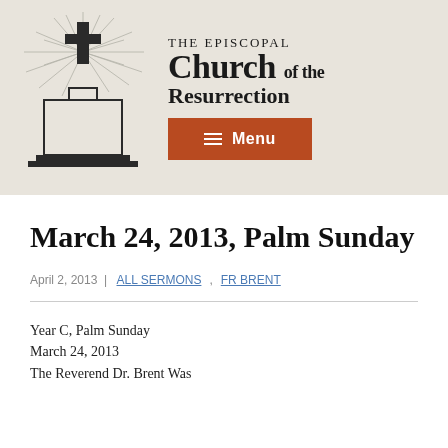[Figure (logo): The Episcopal Church of the Resurrection logo with a cross and radiating lines above a building silhouette, with church name text beside it and an orange Menu button below]
March 24, 2013, Palm Sunday
April 2, 2013 | ALL SERMONS , FR BRENT
Year C, Palm Sunday
March 24, 2013
The Reverend Dr. Brent Was